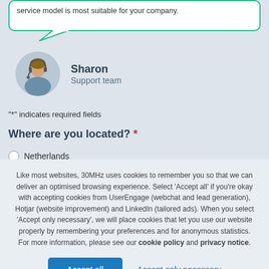service model is most suitable for your company.
[Figure (illustration): Support agent named Sharon with headset photo and speech bubble with teal border]
Sharon
Support team
"*" indicates required fields
Where are you located? *
Netherlands (radio option, partially visible)
Like most websites, 30MHz uses cookies to remember you so that we can deliver an optimised browsing experience. Select 'Accept all' if you're okay with accepting cookies from UserEngage (webchat and lead generation), Hotjar (website improvement) and LinkedIn (tailored ads). When you select 'Accept only necessary', we will place cookies that let you use our website properly by remembering your preferences and for anonymous statistics. For more information, please see our cookie policy and privacy notice.